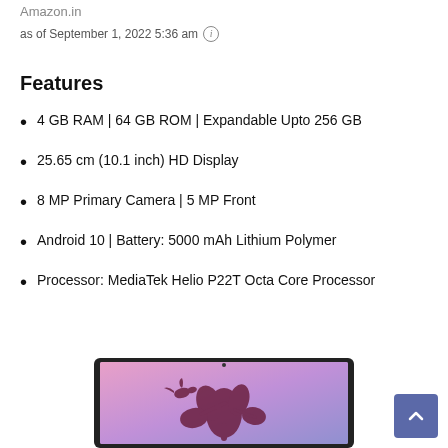Amazon.in
as of September 1, 2022 5:36 am ℹ
Features
4 GB RAM | 64 GB ROM | Expandable Upto 256 GB
25.65 cm (10.1 inch) HD Display
8 MP Primary Camera | 5 MP Front
Android 10 | Battery: 5000 mAh Lithium Polymer
Processor: MediaTek Helio P22T Octa Core Processor
[Figure (photo): Tablet device showing a decorative floral/bird artwork on a pink-purple gradient screen background]